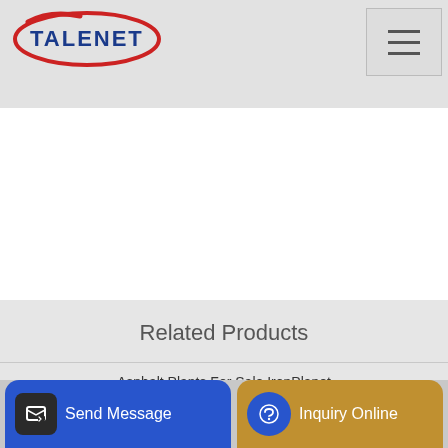TALENET
Related Products
Asphalt Plants For Sale IronPlanet
Bukaka Concrete Batching Plant Wet Dry System
Concrete Pu...
Send Message
Inquiry Online